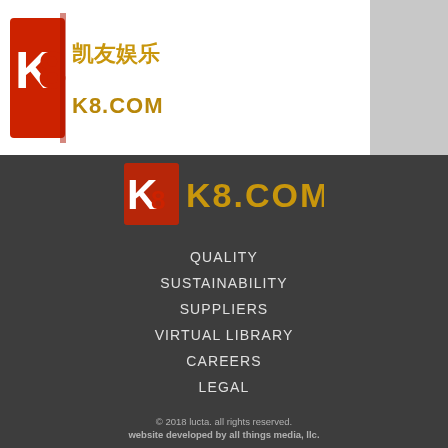[Figure (logo): K8.COM logo with red K8 icon and Chinese text 凯友娱乐, K8.COM in gold]
[Figure (logo): K8.COM logo on dark background with gold gradient letters]
QUALITY
SUSTAINABILITY
SUPPLIERS
VIRTUAL LIBRARY
CAREERS
LEGAL
© 2018 lucta. all rights reserved.
website developed by all things media, llc.